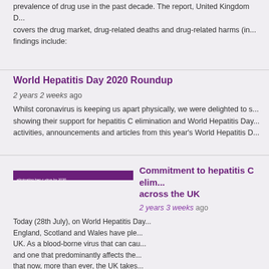prevalence of drug use in the past decade. The report, United Kingdom D... covers the drug market, drug-related deaths and drug-related harms (in... findings include:
World Hepatitis Day 2020 Roundup
2 years 2 weeks ago
Whilst coronavirus is keeping us apart physically, we were delighted to s... showing their support for hepatitis C elimination and World Hepatitis Day... activities, announcements and articles from this year's World Hepatitis D...
[Figure (other): Dark purple banner image with small white text reading 'eliminating hep c virus by 2030']
Commitment to hepatitis C elim... across the UK
2 years 3 weeks ago
Today (28th July), on World Hepatitis Day... England, Scotland and Wales have ple... UK. As a blood-borne virus that can cau... and one that predominantly affects the... that now, more than ever, the UK takes...